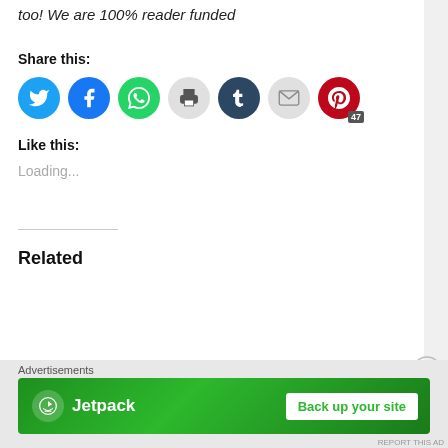too! We are 100% reader funded
Share this:
[Figure (infographic): Social media share buttons: Twitter (blue), Facebook (blue), WhatsApp (green), Print (gray), Tumblr (dark navy), Email (gray), Pinterest (red) with badge showing 47]
Like this:
Loading...
Related
Advertisements
[Figure (infographic): Jetpack advertisement banner with green background showing Jetpack logo and 'Back up your site' button]